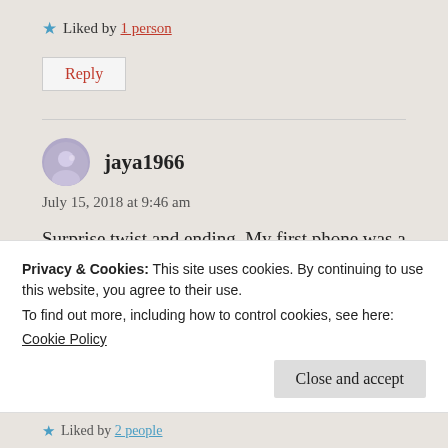Liked by 1 person
Reply
jaya1966
July 15, 2018 at 9:46 am
Surprise twist and ending. My first phone was a Sony Ericsson followed by an iPhone 5 and I now use Samsung. My daughter who is in the
Privacy & Cookies: This site uses cookies. By continuing to use this website, you agree to their use.
To find out more, including how to control cookies, see here:
Cookie Policy
Close and accept
Liked by 2 people